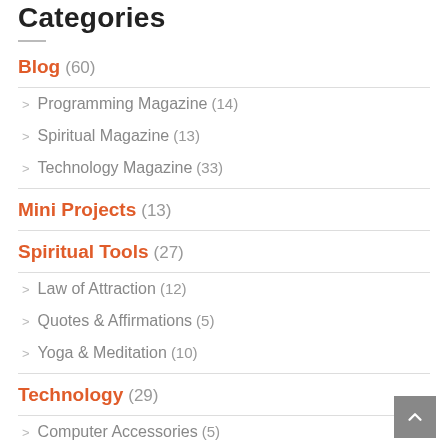Categories
Blog (60)
Programming Magazine (14)
Spiritual Magazine (13)
Technology Magazine (33)
Mini Projects (13)
Spiritual Tools (27)
Law of Attraction (12)
Quotes & Affirmations (5)
Yoga & Meditation (10)
Technology (29)
Computer Accessories (5)
Home Tech (15)